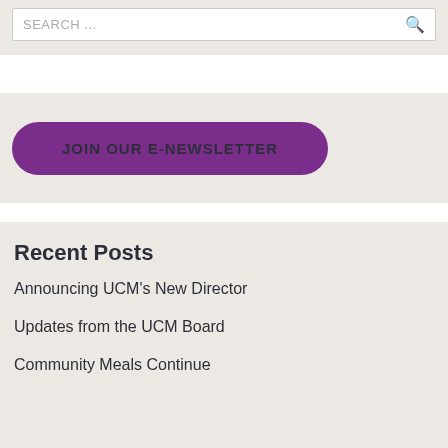SEARCH ...
JOIN OUR E-NEWSLETTER
Recent Posts
Announcing UCM's New Director
Updates from the UCM Board
Community Meals Continue